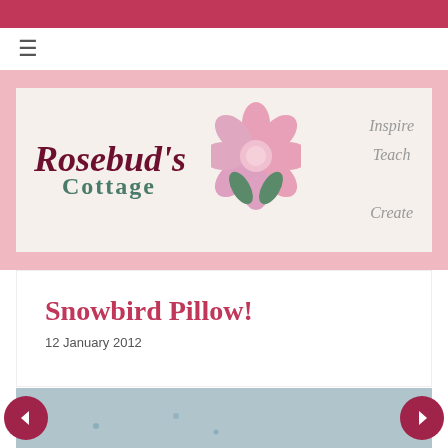[Figure (logo): Rosebud's Cottage blog banner with script text reading 'Rosebud's Cottage', a pink flower appliqué, and tagline 'Inspire Teach Create' on a textured white background]
Snowbird Pillow!
12 January 2012
[Figure (photo): Partial view of a Snowbird Pillow, light blue-grey background visible]